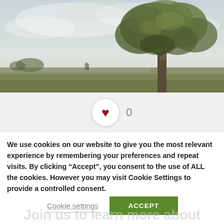[Figure (photo): An oil painting landscape showing a large oak tree on the right side against a pale grey-blue cloudy sky, with flat countryside extending to the left and horizon line in background.]
[Figure (infographic): A circular white button with a dark red heart icon and a like count of 0 next to it, on a light grey background.]
We use cookies on our website to give you the most relevant experience by remembering your preferences and repeat visits. By clicking “Accept”, you consent to the use of ALL the cookies. However you may visit Cookie Settings to provide a controlled consent.
Cookie settings
ACCEPT